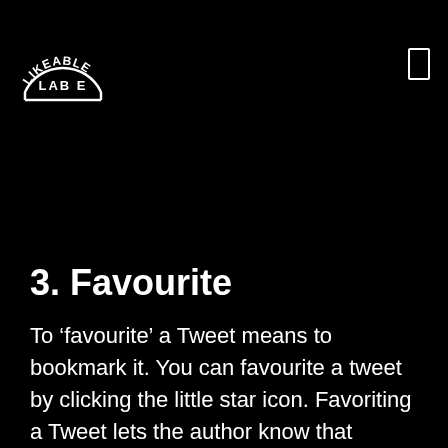[Figure (logo): Likeable Lab logo in white on black background - arched text reading LIKEABLE above LAB E]
3. Favourite
To ‘favourite’ a Tweet means to bookmark it. You can favourite a tweet by clicking the little star icon. Favoriting a Tweet lets the author know that